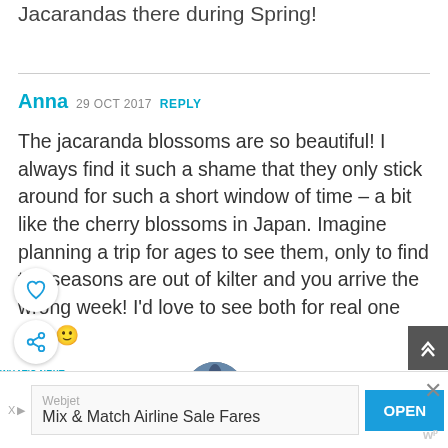Jacarandas there during Spring!
Anna  29 OCT 2017  REPLY
The jacaranda blossoms are so beautiful! I always find it such a shame that they only stick around for such a short window of time – a bit like the cherry blossoms in Japan. Imagine planning a trip for ages to see them, only to find the seasons are out of kilter and you arrive the wrong week! I'd love to see both for real one day 🙂
[Figure (screenshot): Advertisement banner for Webjet – Mix & Match Airline Sale Fares with OPEN button]